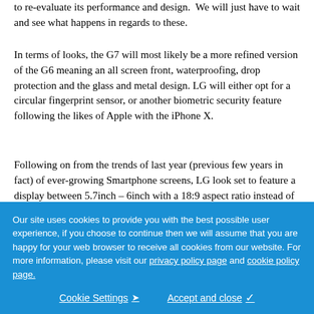to re-evaluate its performance and design. We will just have to wait and see what happens in regards to these.
In terms of looks, the G7 will most likely be a more refined version of the G6 meaning an all screen front, waterproofing, drop protection and the glass and metal design. LG will either opt for a circular fingerprint sensor, or another biometric security feature following the likes of Apple with the iPhone X.
Following on from the trends of last year (previous few years in fact) of ever-growing Smartphone screens, LG look set to feature a display between 5.7inch – 6inch with a 18:9 aspect ratio instead of the previous 16:9. It is likely to be OLED and have support for HDR, also using a Quad HD+ as a minimum.
Our site uses cookies to provide you with the best possible user experience, if you choose to continue then we will assume that you are happy for your web browser to receive all cookies from our website. For more information, please visit our privacy policy page and cookie policy page.